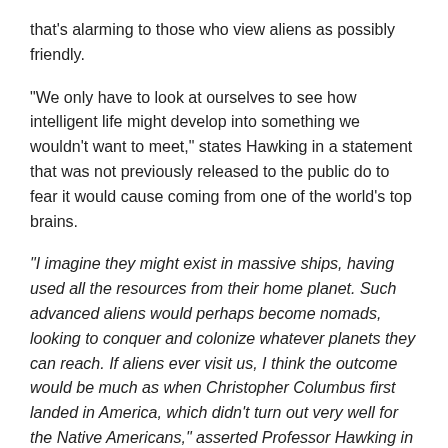that's alarming to those who view aliens as possibly friendly.
“We only have to look at ourselves to see how intelligent life might develop into something we wouldn’t want to meet,” states Hawking in a statement that was not previously released to the public do to fear it would cause coming from one of the world’s top brains.
“I imagine they might exist in massive ships, having used all the resources from their home planet. Such advanced aliens would perhaps become nomads, looking to conquer and colonize whatever planets they can reach. If aliens ever visit us, I think the outcome would be much as when Christopher Columbus first landed in America, which didn’t turn out very well for the Native Americans,” asserted Professor Hawking in his report on why he fears SETI or other contact with alien life.
In turn, the recently released British UFO documents presents numerous references to Hawking’s research on alien life in dozens of the 8,500 previously top secret UFO documents that the British